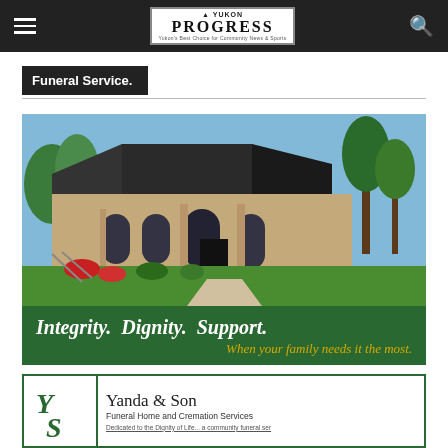Yukon Progress
Funeral Service.
[Figure (photo): Exterior of Yanda & Son Funeral Home building with brick architecture, dark roof, arched windows, and manicured landscaping with red flowers and green lawn]
Integrity. Dignity. Support. When your family needs it the most.
[Figure (logo): Yanda & Son Funeral Home and Cremation Services logo with YS monogram in green border box]
Yanda & Son Funeral Home and Cremation Services Dedicated to the Dignity of Life... a community funeral service